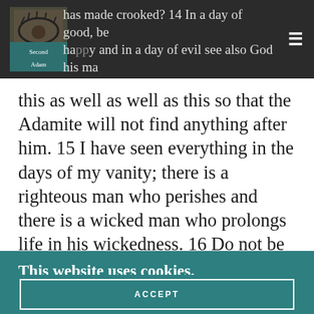Second Adam — has made crooked? 14 In a day of good, be happy and in a day of evil see also God his ma[de]
this as well as well as this so that the Adamite will not find anything after him. 15 I have seen everything in the days of my vanity; there is a righteous man who perishes and there is a wicked man who prolongs life in his wickedness. 16 Do not be overly righteous, and not overly wise. Why destroy yourself? 17 Do not be overly wicked and do
This website uses cookies.
We use cookies to analyze website traffic and optimize your website experience. By accepting our use of cookies, your data will be aggregated with all other user data.
ACCEPT